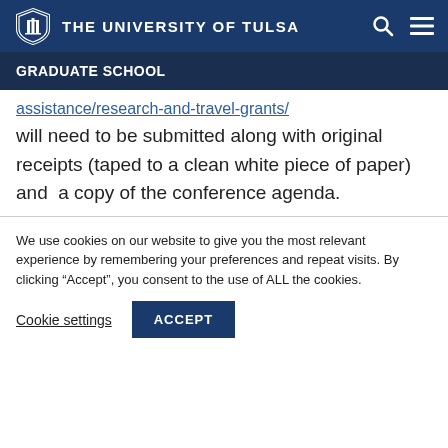THE UNIVERSITY OF TULSA
GRADUATE SCHOOL
assistance/research-and-travel-grants/
will need to be submitted along with original receipts (taped to a clean white piece of paper) and  a copy of the conference agenda.
We use cookies on our website to give you the most relevant experience by remembering your preferences and repeat visits. By clicking “Accept”, you consent to the use of ALL the cookies.
Cookie settings   ACCEPT